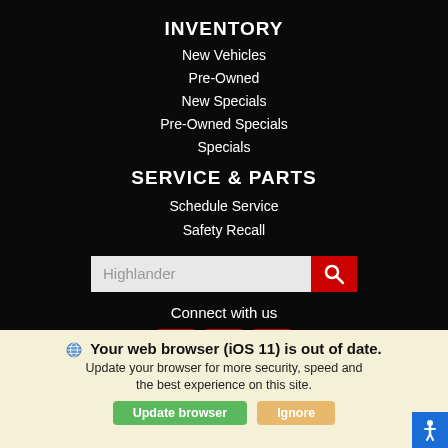INVENTORY
New Vehicles
Pre-Owned
New Specials
Pre-Owned Specials
Specials
SERVICE & PARTS
Schedule Service
Safety Recall
[Figure (screenshot): Search input box with placeholder text 'Highlander' and a red search button with magnifying glass icon]
Connect with us
[Figure (infographic): Three red social media icons: Facebook, Twitter, YouTube]
Your web browser (iOS 11) is out of date. Update your browser for more security, speed and the best experience on this site.
[Figure (infographic): Update browser (green button) and Ignore (tan button) and accessibility icon (blue button)]